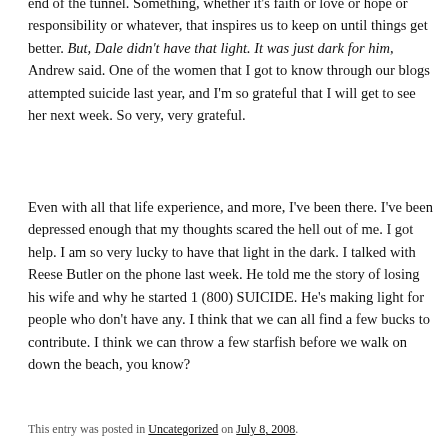end of the tunnel.  Something, whether it's faith or love or hope or responsibility or whatever, that inspires us to keep on until things get better.  But, Dale didn't have that light.  It was just dark for him, Andrew said.  One of the women that I got to know through our blogs attempted suicide last year, and I'm so grateful that I will get to see her next week.  So very, very grateful.
Even with all that life experience, and more, I've been there.  I've been depressed enough that my thoughts scared the hell out of me.  I got help.  I am so very lucky to have that light in the dark.  I talked with Reese Butler on the phone last week.  He told me the story of losing his wife and why he started 1 (800) SUICIDE.   He's making light for people who don't have any.  I think that we can all find a few bucks to contribute.  I think we can throw a few starfish before we walk on down the beach, you know?
This entry was posted in Uncategorized on July 8, 2008.